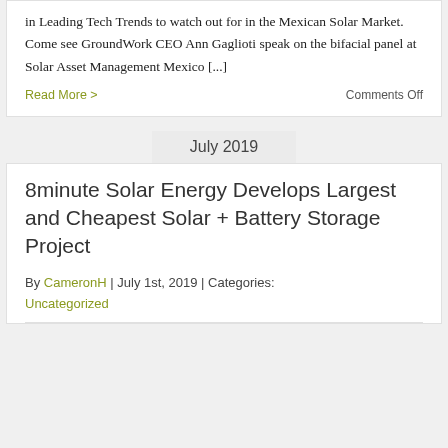in Leading Tech Trends to watch out for in the Mexican Solar Market. Come see GroundWork CEO Ann Gaglioti speak on the bifacial panel at Solar Asset Management Mexico [...]
Read More >    Comments Off
July 2019
8minute Solar Energy Develops Largest and Cheapest Solar + Battery Storage Project
By CameronH | July 1st, 2019 | Categories: Uncategorized